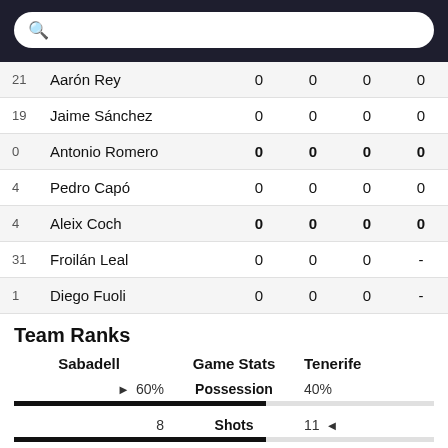| # | Name |  |  |  |  |
| --- | --- | --- | --- | --- | --- |
| 21 | Aarón Rey | 0 | 0 | 0 | 0 |
| 19 | Jaime Sánchez | 0 | 0 | 0 | 0 |
| 0 | Antonio Romero | 0 | 0 | 0 | 0 |
| 4 | Pedro Capó | 0 | 0 | 0 | 0 |
| 4 | Aleix Coch | 0 | 0 | 0 | 0 |
| 31 | Froilán Leal | 0 | 0 | 0 | - |
| 1 | Diego Fuoli | 0 | 0 | 0 | - |
Team Ranks
| Sabadell | Game Stats | Tenerife |
| --- | --- | --- |
| ► 60% | Possession | 40% |
| 8 | Shots | 11 ◄ |